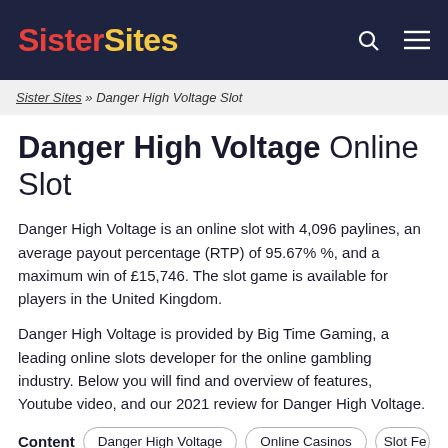SisterSites
Sister Sites » Danger High Voltage Slot
Danger High Voltage Online Slot
Danger High Voltage is an online slot with 4,096 paylines, an average payout percentage (RTP) of 95.67% %, and a maximum win of £15,746. The slot game is available for players in the United Kingdom.
Danger High Voltage is provided by Big Time Gaming, a leading online slots developer for the online gambling industry. Below you will find and overview of features, Youtube video, and our 2021 review for Danger High Voltage.
Content  Danger High Voltage  Online Casinos  Slot Fe